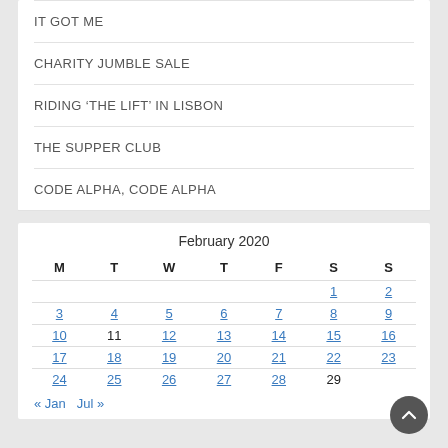IT GOT ME
CHARITY JUMBLE SALE
RIDING ‘THE LIFT’ IN LISBON
THE SUPPER CLUB
CODE ALPHA, CODE ALPHA
| M | T | W | T | F | S | S |
| --- | --- | --- | --- | --- | --- | --- |
|  |  |  |  |  | 1 | 2 |
| 3 | 4 | 5 | 6 | 7 | 8 | 9 |
| 10 | 11 | 12 | 13 | 14 | 15 | 16 |
| 17 | 18 | 19 | 20 | 21 | 22 | 23 |
| 24 | 25 | 26 | 27 | 28 | 29 |  |
« Jan    Jul »